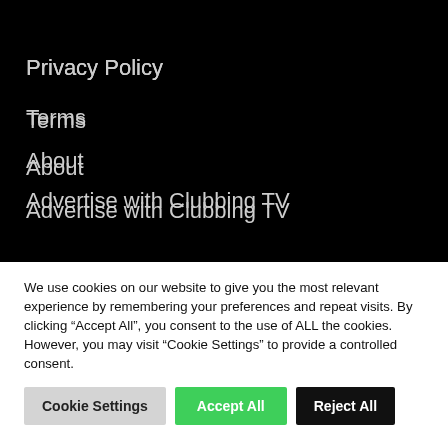Privacy Policy
Terms
About
Advertise with Clubbing TV
Contact
Support Ticket
We use cookies on our website to give you the most relevant experience by remembering your preferences and repeat visits. By clicking “Accept All”, you consent to the use of ALL the cookies. However, you may visit "Cookie Settings" to provide a controlled consent.
Cookie Settings | Accept All | Reject All